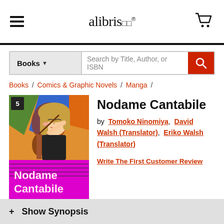alibris
Books | Search by Title, Author, or ISBN
Books / Comics & Graphic Novels / Manga /
[Figure (illustration): Book cover of Nodame Cantabile volume 5 by Tomoko Ninomiya. Anime-style illustration of a girl with a cello, colorful stained-glass background above, pink/magenta background with guitar strings below, title in white/pink text.]
Nodame Cantabile
by Tomoko Ninomiya, David Walsh (Translator), Eriko Walsh (Translator)
Write The First Customer Review
+ Show Synopsis